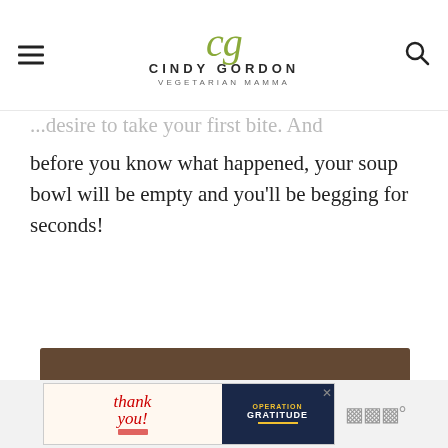cg CINDY GORDON VEGETARIAN MAMMA
before you know what happened, your soup bowl will be empty and you'll be begging for seconds!
[Figure (photo): A white bowl filled with yellow-green soup topped with purple cabbage pieces, yellow tofu cubes, and fresh cilantro, on a wooden surface. Social share buttons and a 'What's Next: Vegetarian Potato Soup' widget are overlaid.]
[Figure (photo): Advertisement banner at the bottom: 'thank you!' text with American flag imagery and Operation Gratitude logo on dark background.]